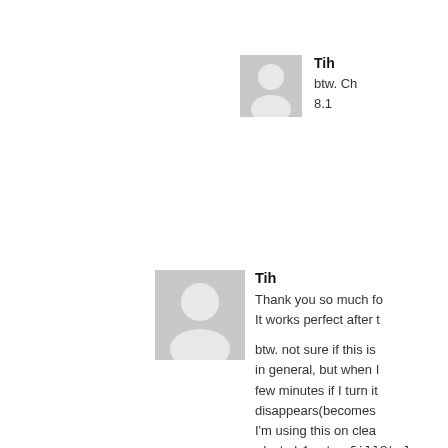[Figure (illustration): Small gray avatar icon (silhouette of a person) for user Tih, top right area]
Tih
btw. Ch 8.1
[Figure (illustration): Larger gray avatar icon (silhouette of a person) for user Tih, middle area]
Tih
Thank you so much fo It works perfect after t
btw. not sure if this is in general, but when I few minutes if I turn it disappears(becomes I'm using this on clea sketch1.ctx.fillStyle = sketch1.ctx.fillRect(0, sketch1.canvas.heigh
So, I need to refresh t white non-transparent
Any idea why this ha